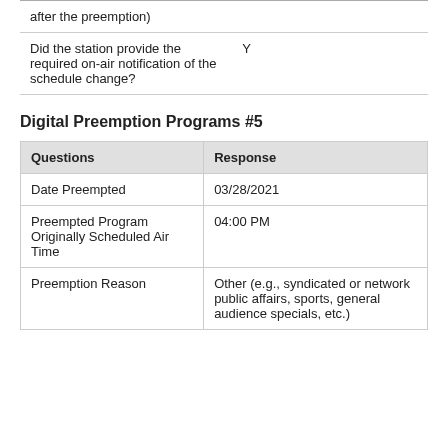| Questions | Response |
| --- | --- |
| Did the station provide the required on-air notification of the schedule change? | Y |
Digital Preemption Programs #5
| Questions | Response |
| --- | --- |
| Date Preempted | 03/28/2021 |
| Preempted Program Originally Scheduled Air Time | 04:00 PM |
| Preemption Reason | Other (e.g., syndicated or network public affairs, sports, general audience specials, etc.) |